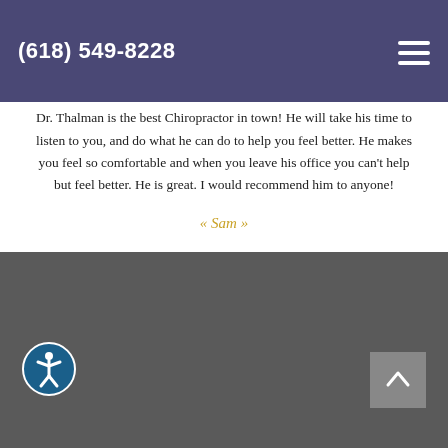(618) 549-8228
[Figure (logo): Chiropractor logo with laurel wreath and text CHIROPRACTOR]
Dr. Thalman is the best Chiropractor in town! He will take his time to listen to you, and do what he can do to help you feel better. He makes you feel so comfortable and when you leave his office you can't help but feel better. He is great. I would recommend him to anyone!
« Sam »